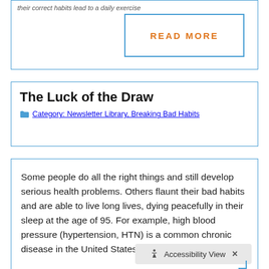their correct habits lead to a daily exercise
READ MORE
The Luck of the Draw
Category: Newsletter Library, Breaking Bad Habits
Some people do all the right things and still develop serious health problems. Others flaunt their bad habits and are able to live long lives, dying peacefully in their sleep at the age of 95. For example, high blood pressure (hypertension, HTN) is a common chronic disease in the United States. With
Accessibility View